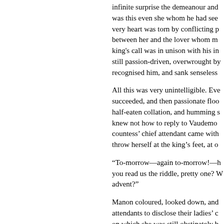infinite surprise the demeanour and was this even she whom he had seen very heart was torn by conflicting p between her and the lover whom m king's call was in unison with his in still passion-driven, overwrought by recognised him, and sank senseless
All this was very unintelligible. Eve succeeded, and then passionate floo half-eaten collation, and humming s knew not how to reply to Vaudemon countess' chief attendant came with throw herself at the king's feet, at o
“To-morrow—again to-morrow!—h you read us the riddle, pretty one? V advent?”
Manon coloured, looked down, and attendants to disclose their ladies' c on which she was still obstinately b St. Catherine's bed, to rest on a narr